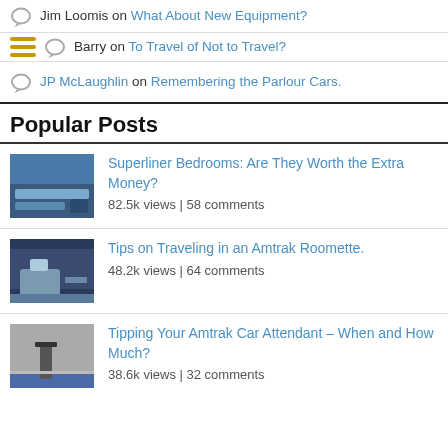Jim Loomis on What About New Equipment?
Barry on To Travel of Not to Travel?
JP McLaughlin on Remembering the Parlour Cars.
Popular Posts
Superliner Bedrooms: Are They Worth the Extra Money? 82.5k views | 58 comments
Tips on Traveling in an Amtrak Roomette. 48.2k views | 64 comments
Tipping Your Amtrak Car Attendant – When and How Much? 38.6k views | 32 comments